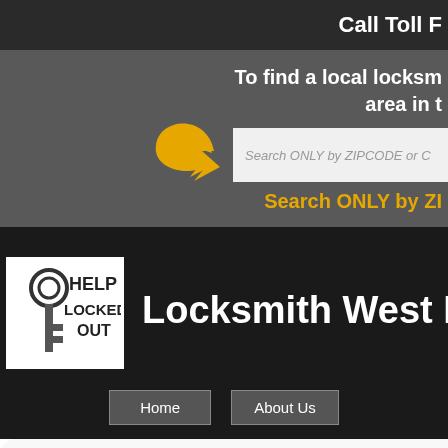Call Toll F
To find a local locksm... area in t
[Figure (illustration): Orange curved arrow pointing right]
Search ONLY by ZIPCODE or C
Search ONLY by ZI
[Figure (logo): Help Locked Out logo with key icon and text HELP LOCKED OUT]
Locksmith West Blo
Home
About Us